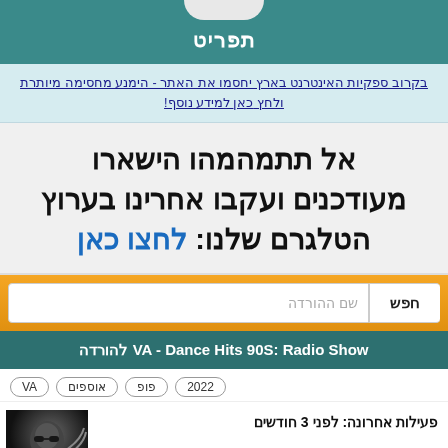תפריט
בקרוב ספקיות האינטרנט בארץ יחסמו את האתר - הימנע מחסימה מיותרת ולחץ כאן למידע נוסף!
אל תתמהמהו הישארו מעודכנים ועקבו אחרינו בערוץ הטלגרם שלנו: לחצו כאן
שם ההורדה
VA - Dance Hits 90S: Radio Show להורדה
VA אוספים פופ 2022
פעילות אחרונה: לפני 3 חודשים